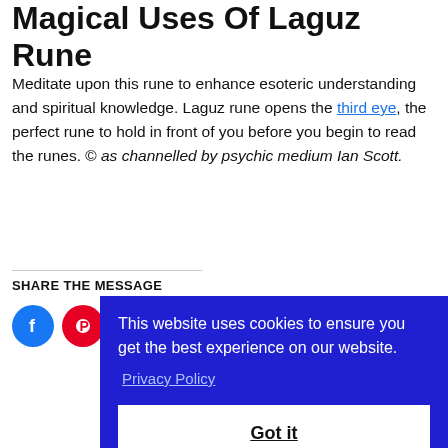Magical Uses Of Laguz Rune
Meditate upon this rune to enhance esoteric understanding and spiritual knowledge. Laguz rune opens the third eye, the perfect rune to hold in front of you before you begin to read the runes. © as channelled by psychic medium Ian Scott.
SHARE THE MESSAGE
This website uses cookies to ensure you get the best experience on our website.
Privacy Policy
Got it